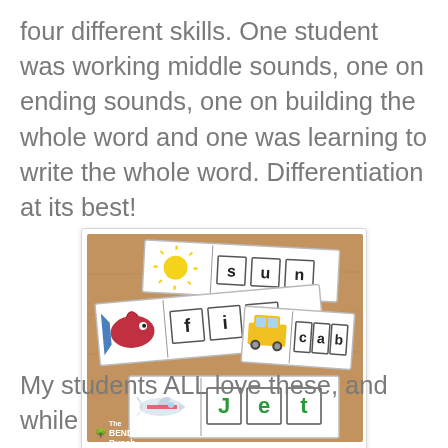four different skills. One student was working middle sounds, one on ending sounds, one on building the whole word and one was learning to write the whole word. Differentiation at its best!
[Figure (photo): Photo of educational word-building card activities on a wooden table. Cards show pictures and letter boxes spelling 'sun', 'fin', 'cab', and 'jet'. The Bender Bunch logo is in the bottom left.]
My students ALL love these, and while